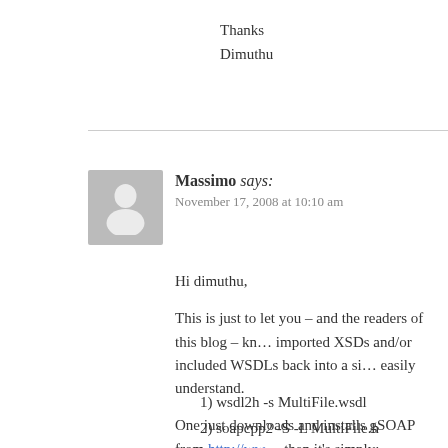Thanks
Dimuthu
Massimo says:
November 17, 2008 at 10:10 am
Hi dimuthu,
This is just to let you – and the readers of this blog – kn… imported XSDs and/or included WSDLs back into a si… easily understand.
One just downloads and installs gSOAP from http://ww… then it's simply:
1) wsdl2h -s MultiFile.wsdl
2) soapcpp2 -S -L MultiFile.h